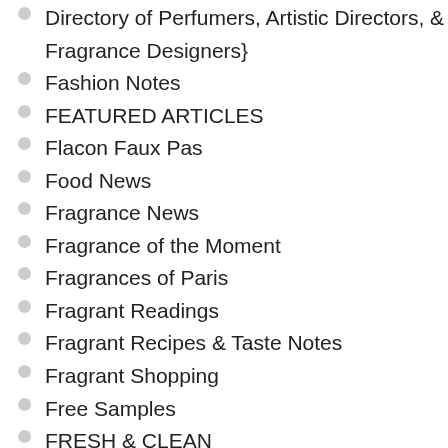Directory of Perfumers, Artistic Directors, & Fragrance Designers}
Fashion Notes
FEATURED ARTICLES
Flacon Faux Pas
Food News
Fragrance News
Fragrance of the Moment
Fragrances of Paris
Fragrant Readings
Fragrant Recipes & Taste Notes
Fragrant Shopping
Free Samples
FRESH & CLEAN
Gardenia
Green Products
Grooming
Hair